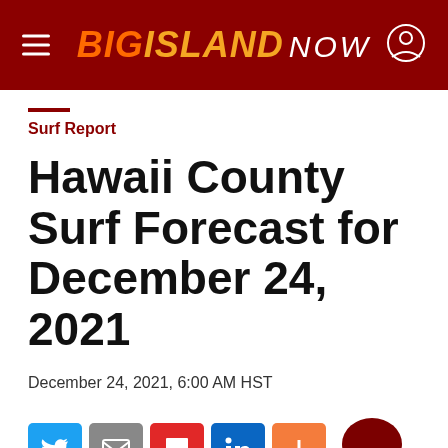BIG ISLAND NOW
Surf Report
Hawaii County Surf Forecast for December 24, 2021
December 24, 2021, 6:00 AM HST
[Figure (infographic): Social sharing icons row: Twitter (blue), Email (grey), Flipboard (red), LinkedIn (blue), More (orange); and a dark red comment bubble icon on the right.]
Listen to this Article